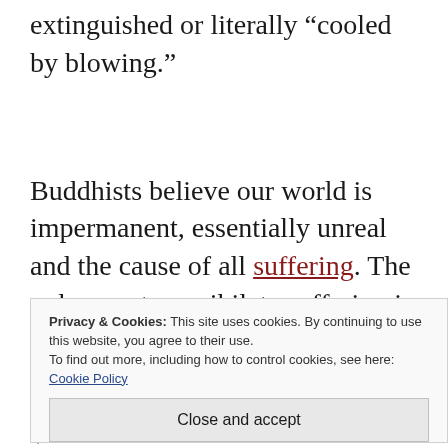extinguished or literally “cooled by blowing.”
Buddhists believe our world is impermanent, essentially unreal and the cause of all suffering. The only way to annihilate suffering is to detach ourselves from worldly craving and wants. By
Privacy & Cookies: This site uses cookies. By continuing to use this website, you agree to their use. To find out more, including how to control cookies, see here: Cookie Policy
Close and accept
step further. Becoming enlightened (another